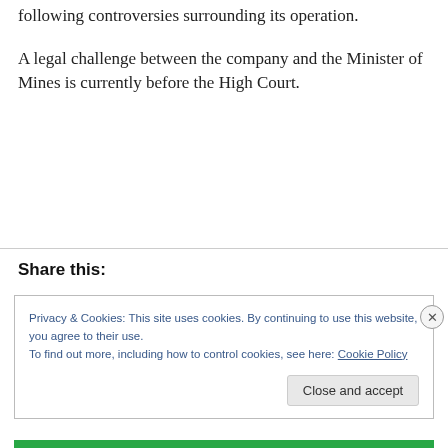following controversies surrounding its operation.
A legal challenge between the company and the Minister of Mines is currently before the High Court.
Share this:
Privacy & Cookies: This site uses cookies. By continuing to use this website, you agree to their use.
To find out more, including how to control cookies, see here: Cookie Policy
Close and accept